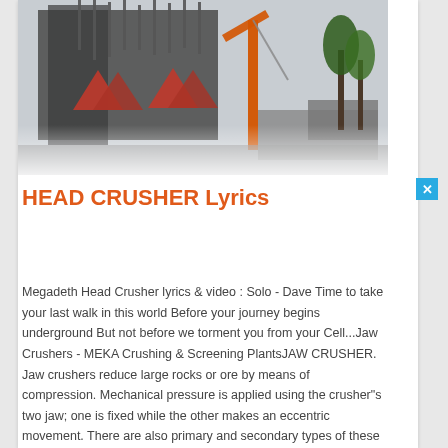[Figure (photo): Construction site photo showing heavy machinery including cranes and jaw crushers at an industrial site]
HEAD CRUSHER Lyrics
Megadeth Head Crusher lyrics & video : Solo - Dave Time to take your last walk in this world Before your journey begins underground But not before we torment you from your Cell...Jaw Crushers - MEKA Crushing & Screening PlantsJAW CRUSHER. Jaw crushers reduce large rocks or ore by means of compression. Mechanical pressure is applied using the crusher"s two jaw; one is fixed while the other makes an eccentric movement. There are also primary and secondary types of these crushers. Jaw crushers are one of the most commonly preferred crushers due to their ability to ...